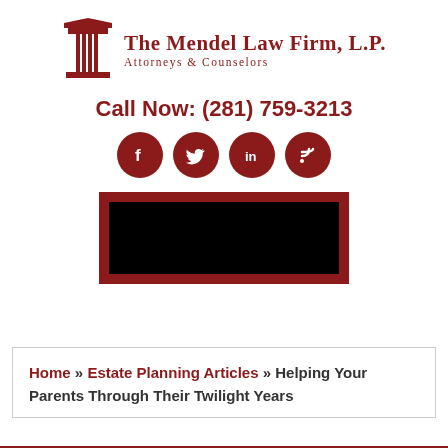[Figure (logo): The Mendel Law Firm, L.P. logo with a Greek column icon and firm name in dark red serif font]
Call Now: (281) 759-3213
[Figure (other): Four dark red circular social media icons: Facebook, Twitter, LinkedIn, RSS]
[Figure (other): Dark red bordered banner with black interior image]
Home » Estate Planning Articles » Helping Your Parents Through Their Twilight Years